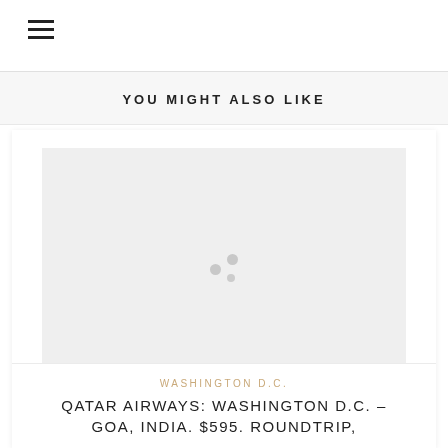≡
YOU MIGHT ALSO LIKE
[Figure (photo): Loading placeholder image with spinning dots indicator on light grey background]
WASHINGTON D.C.
QATAR AIRWAYS: WASHINGTON D.C. – GOA, INDIA. $595. ROUNDTRIP,